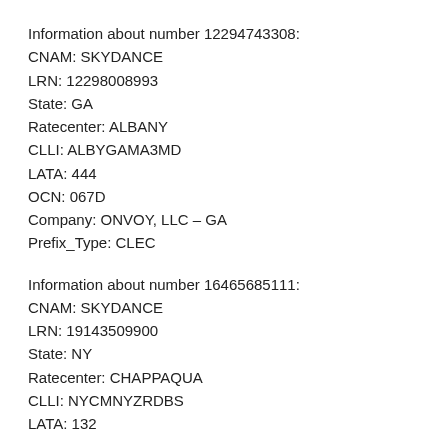Information about number 12294743308:
CNAM: SKYDANCE
LRN: 12298008993
State: GA
Ratecenter: ALBANY
CLLI: ALBYGAMA3MD
LATA: 444
OCN: 067D
Company: ONVOY, LLC – GA
Prefix_Type: CLEC
Information about number 16465685111:
CNAM: SKYDANCE
LRN: 19143509900
State: NY
Ratecenter: CHAPPAQUA
CLLI: NYCMNYZRDBS
LATA: 132